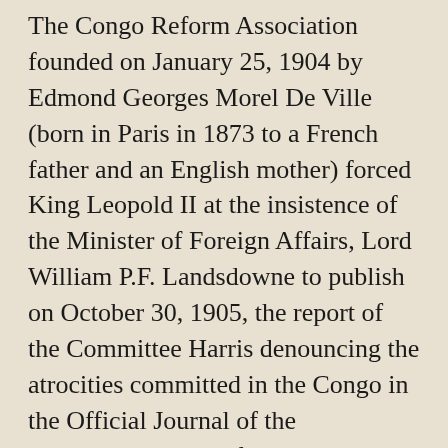The Congo Reform Association founded on January 25, 1904 by Edmond Georges Morel De Ville (born in Paris in 1873 to a French father and an English mother) forced King Leopold II at the insistence of the Minister of Foreign Affairs, Lord William P.F. Landsdowne to publish on October 30, 1905, the report of the Committee Harris denouncing the atrocities committed in the Congo in the Official Journal of the Independent State of the Congo. The coup de grace which completed the Congo Free State came from acerbic articles of E.D. Morel, editor of " West Africa Mail " and in the Speaker under the revealing title of "The Congo Scandal ".  The evidence presented by his friend, the Irish consul of England in Boma, Roger Casement in the " Parliamentary Papers " were considered by the